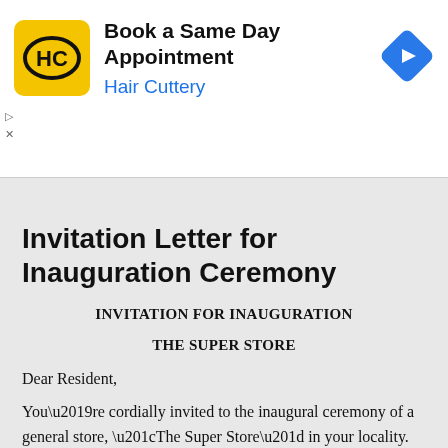[Figure (logo): Hair Cuttery advertisement banner with yellow HC logo, text 'Book a Same Day Appointment' and 'Hair Cuttery', and a blue diamond arrow icon]
Invitation Letter for Inauguration Ceremony
INVITATION FOR INAUGURATION
THE SUPER STORE
Dear Resident,
You’re cordially invited to the inaugural ceremony of a general store, “The Super Store” in your locality. We are located in Y-Block,